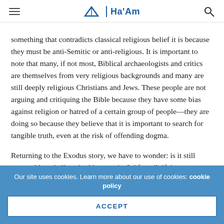Ha'Am
something that contradicts classical religious belief it is because they must be anti-Semitic or anti-religious. It is important to note that many, if not most, Biblical archaeologists and critics are themselves from very religious backgrounds and many are still deeply religious Christians and Jews. These people are not arguing and critiquing the Bible because they have some bias against religion or hatred of a certain group of people—they are doing so because they believe that it is important to search for tangible truth, even at the risk of offending dogma.

Returning to the Exodus story, we have to wonder: is it still reasonable to believe in this narrative? After all, if there were
Our site uses cookies. Learn more about our use of cookies: cookie policy
ACCEPT